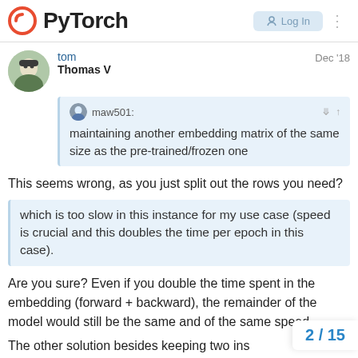PyTorch
tom
Thomas V
Dec '18
maw501:
maintaining another embedding matrix of the same size as the pre-trained/frozen one
This seems wrong, as you just split out the rows you need?
which is too slow in this instance for my use case (speed is crucial and this doubles the time per epoch in this case).
Are you sure? Even if you double the time spent in the embedding (forward + backward), the remainder of the model would still be the same and of the same speed.
The other solution besides keeping two ins
2 / 15